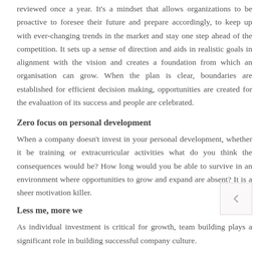reviewed once a year. It's a mindset that allows organizations to be proactive to foresee their future and prepare accordingly, to keep up with ever-changing trends in the market and stay one step ahead of the competition. It sets up a sense of direction and aids in realistic goals in alignment with the vision and creates a foundation from which an organisation can grow. When the plan is clear, boundaries are established for efficient decision making, opportunities are created for the evaluation of its success and people are celebrated.
Zero focus on personal development
When a company doesn't invest in your personal development, whether it be training or extracurricular activities what do you think the consequences would be? How long would you be able to survive in an environment where opportunities to grow and expand are absent? It is a sheer motivation killer.
Less me, more we
As individual investment is critical for growth, team building plays a significant role in building successful company culture.